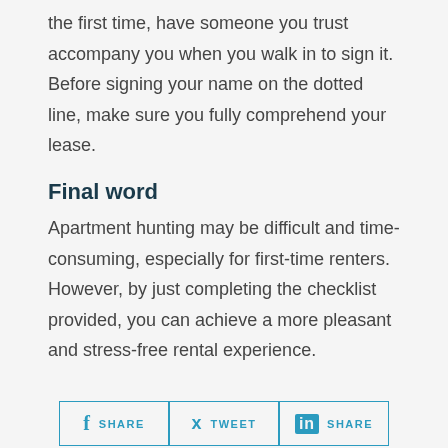the first time, have someone you trust accompany you when you walk in to sign it. Before signing your name on the dotted line, make sure you fully comprehend your lease.
Final word
Apartment hunting may be difficult and time-consuming, especially for first-time renters. However, by just completing the checklist provided, you can achieve a more pleasant and stress-free rental experience.
[Figure (other): Social sharing buttons: Facebook SHARE, Twitter TWEET, LinkedIn SHARE]